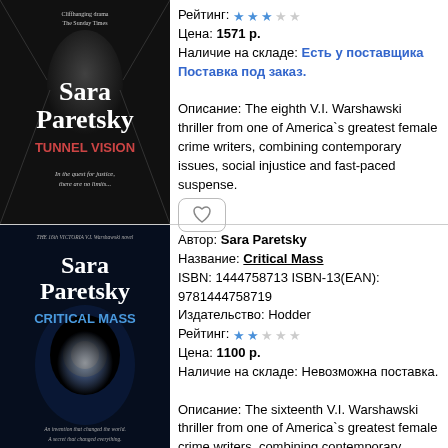[Figure (photo): Book cover: Sara Paretsky - Tunnel Vision, dark corridor background]
Рейтинг: ★★★☆☆
Цена: 1571 р.
Наличие на складе: Есть у поставщика Поставка под заказ.

Описание: The eighth V.I. Warshawski thriller from one of America`s greatest female crime writers, combining contemporary issues, social injustice and fast-paced suspense.
[Figure (photo): Book cover: Sara Paretsky - Critical Mass, dark blue mystical background]
Автор: Sara Paretsky
Название: Critical Mass
ISBN: 1444758713 ISBN-13(EAN): 9781444758719
Издательство: Hodder
Рейтинг: ★★☆☆☆
Цена: 1100 р.
Наличие на складе: Невозможна поставка.

Описание: The sixteenth V.I. Warshawski thriller from one of America`s greatest female crime writers, combining contemporary issues, the fight against injustice and fast-paced suspense.